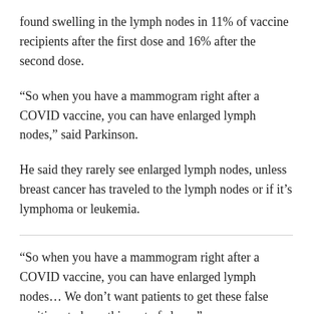found swelling in the lymph nodes in 11% of vaccine recipients after the first dose and 16% after the second dose.
“So when you have a mammogram right after a COVID vaccine, you can have enlarged lymph nodes,” said Parkinson.
He said they rarely see enlarged lymph nodes, unless breast cancer has traveled to the lymph nodes or if it’s lymphoma or leukemia.
“So when you have a mammogram right after a COVID vaccine, you can have enlarged lymph nodes… We don’t want patients to get these false positives to have this sort of alarm.”